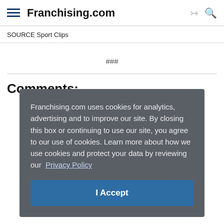Franchising.com
SOURCE Sport Clips
###
Comments:
Franchising.com uses cookies for analytics, advertising and to improve our site. By closing this box or continuing to use our site, you agree to our use of cookies. Learn more about how we use cookies and protect your data by reviewing our Privacy Policy
I Accept